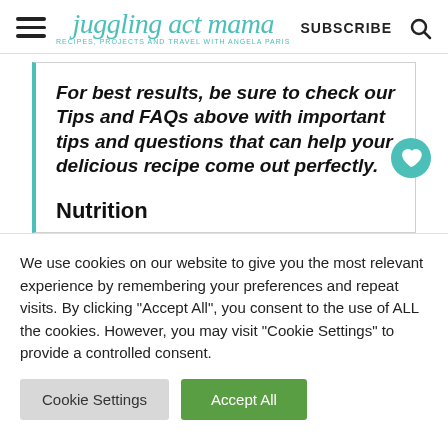juggling act mama — RECIPES, PROJECTS AND TRAVEL WITH ANGELA PARIS — SUBSCRIBE
For best results, be sure to check our Tips and FAQs above with important tips and questions that can help your delicious recipe come out perfectly.
Nutrition
We use cookies on our website to give you the most relevant experience by remembering your preferences and repeat visits. By clicking "Accept All", you consent to the use of ALL the cookies. However, you may visit "Cookie Settings" to provide a controlled consent.